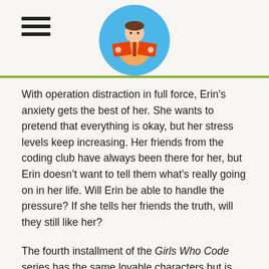[Header with hamburger menu and reading logo]
With operation distraction in full force, Erin’s anxiety gets the best of her. She wants to pretend that everything is okay, but her stress levels keep increasing. Her friends from the coding club have always been there for her, but Erin doesn’t want to tell them what’s really going on in her life. Will Erin be able to handle the pressure? If she tells her friends the truth, will they still like her?
The fourth installment of the Girls Who Code series has the same lovable characters but is told from Erin’s point of view, which allows the story to focus on a new conflict. Readers will get a look at Erin’s thought process as she tries to use humor to diffuse stressful situations. Erin tries to hide her true feelings from her friends. Readers will relate to Erin’s struggle with anxiety and her fear of telling others. The story makes it clear that having anxiety should not be dismissed and encourages Erin to tell [continues]